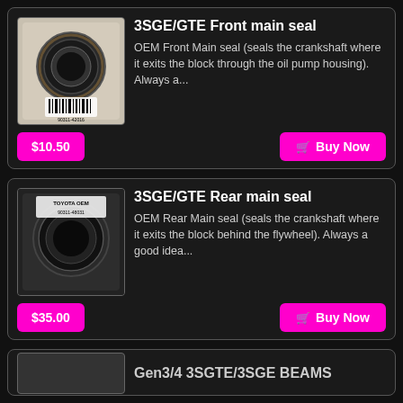[Figure (photo): Photo of 3SGE/GTE front main seal in packaging]
3SGE/GTE Front main seal
OEM Front Main seal (seals the crankshaft where it exits the block through the oil pump housing). Always a...
$10.50
Buy Now
[Figure (photo): Photo of 3SGE/GTE rear main seal in packaging]
3SGE/GTE Rear main seal
OEM Rear Main seal (seals the crankshaft where it exits the block behind the flywheel). Always a good idea...
$35.00
Buy Now
Gen3/4 3SGTE/3SGE BEAMS